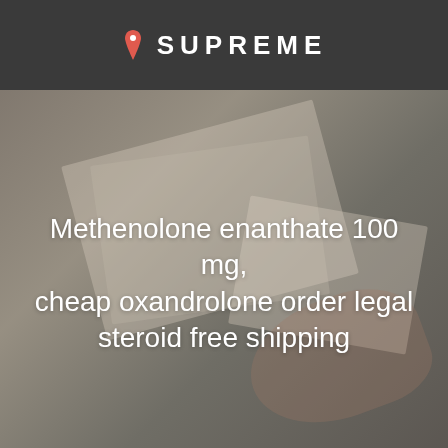SUPREME
[Figure (photo): Muted background photo showing hands holding papers/documents, overlaid with dark semi-transparent filter]
Methenolone enanthate 100 mg, cheap oxandrolone order legal steroid free shipping